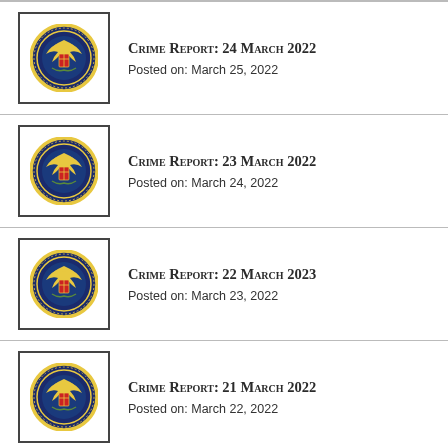Crime Report: 24 March 2022
Posted on: March 25, 2022
Crime Report: 23 March 2022
Posted on: March 24, 2022
Crime Report: 22 March 2023
Posted on: March 23, 2022
Crime Report: 21 March 2022
Posted on: March 22, 2022
Crime Report: 18, 19, 20 March 2022
Posted on: March 21, 2022
Crime Report: 17 March 2022